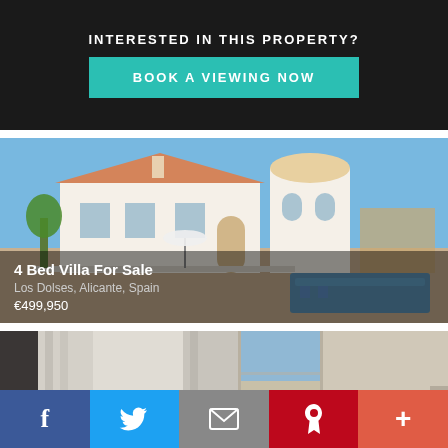INTERESTED IN THIS PROPERTY?
BOOK A VIEWING NOW
[Figure (photo): Exterior photo of a white Mediterranean-style villa with pool and blue sky, Los Dolses, Alicante, Spain]
4 Bed Villa For Sale
Los Dolses, Alicante, Spain
€499,950
[Figure (photo): Interior photo of a room with white curtains and sliding glass doors]
f  Twitter  Email  Pinterest  +